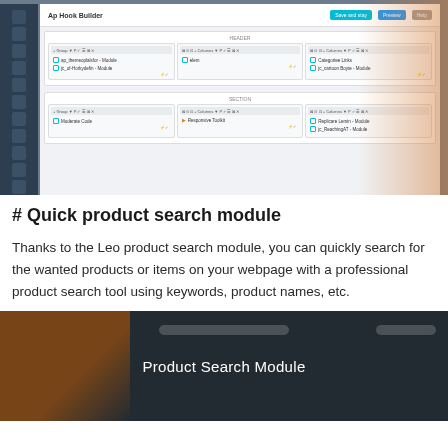[Figure (screenshot): Screenshot of Ap Hook Builder admin interface showing a grid layout with multiple module/section panels containing items like 'ap_themeoplalsfor - Module', 'Categories Links', 'Moderate Code', 'Responsive Toolkit', and other module entries arranged in rows and columns. A person in an orange hard hat is visible in the background on the right side.]
# Quick product search module
Thanks to the Leo product search module, you can quickly search for the wanted products or items on your webpage with a professional product search tool using keywords, product names, etc.
[Figure (screenshot): Dark overlay image showing a person wearing an orange hard hat with white text 'Product Search Module' centered on the image, and faint search bar elements visible at the top.]